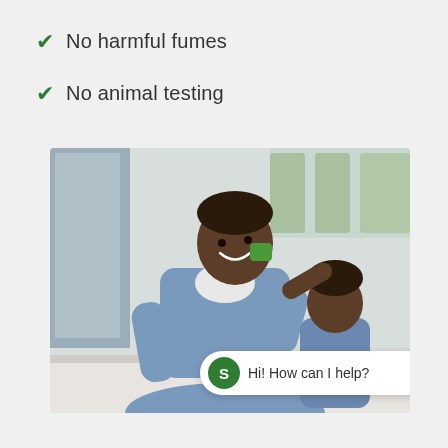✓ No harmful fumes
✓ No animal testing
[Figure (photo): A father and child at a kitchen sink. The father is smiling and leaning over the sink while the child holds up a green sponge to the father's face. There are green dishes and a faucet visible. A chat widget overlay reads 'Hi! How can I help?' with a green S icon.]